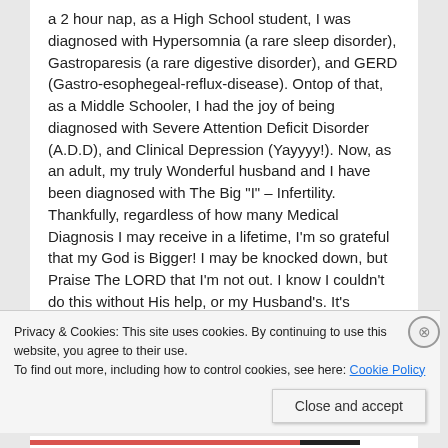a 2 hour nap, as a High School student, I was diagnosed with Hypersomnia (a rare sleep disorder), Gastroparesis (a rare digestive disorder), and GERD (Gastro-esophegeal-reflux-disease). Ontop of that, as a Middle Schooler, I had the joy of being diagnosed with Severe Attention Deficit Disorder (A.D.D), and Clinical Depression (Yayyyy!). Now, as an adult, my truly Wonderful husband and I have been diagnosed with The Big "I" – Infertility. Thankfully, regardless of how many Medical Diagnosis I may receive in a lifetime, I'm so grateful that my God is Bigger! I may be knocked down, but Praise The LORD that I'm not out. I know I couldn't do this without His help, or my Husband's. It's BECAUSE of All that I've been through Why I want to
Privacy & Cookies: This site uses cookies. By continuing to use this website, you agree to their use.
To find out more, including how to control cookies, see here: Cookie Policy